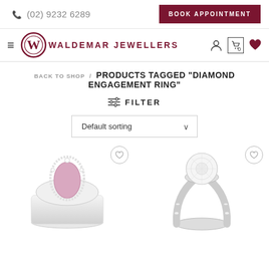(02) 9232 6289   BOOK APPOINTMENT
[Figure (logo): Waldemar Jewellers logo with W monogram and navigation icons]
BACK TO SHOP / PRODUCTS TAGGED "DIAMOND ENGAGEMENT RING"
≡ FILTER
Default sorting
[Figure (photo): Two diamond engagement rings displayed: left is a pink pear-cut diamond halo ring, right is a round brilliant diamond solitaire ring with diamond-set band]